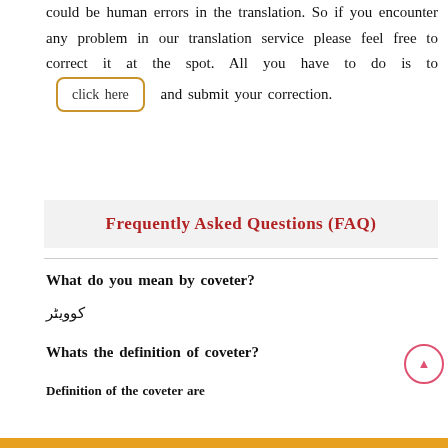could be human errors in the translation. So if you encounter any problem in our translation service please feel free to correct it at the spot. All you have to do is to click here and submit your correction.
Frequently Asked Questions (FAQ)
What do you mean by coveter?
کوویٹر
Whats the definition of coveter?
Definition of the coveter are